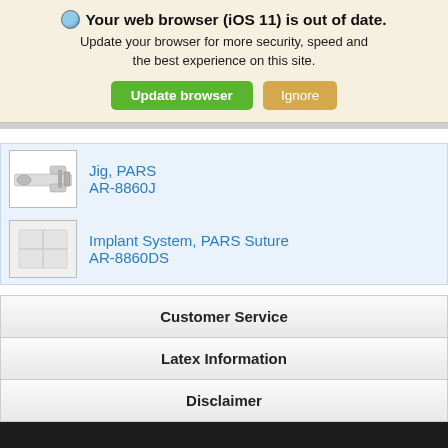Your web browser (iOS 11) is out of date. Update your browser for more security, speed and the best experience on this site.
Update browser | Ignore
[Figure (screenshot): Gray separator bar]
Jig, PARS AR-8860J
Implant System, PARS Suture AR-8860DS
Customer Service
Latex Information
Disclaimer
How can we help you?